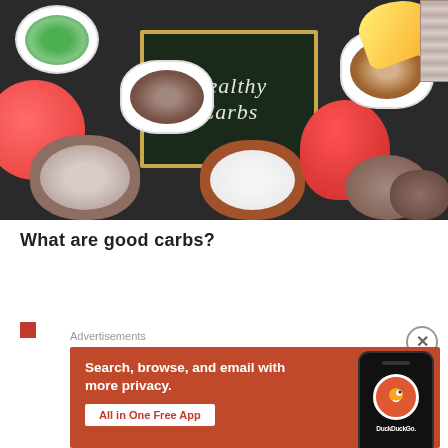[Figure (photo): Overhead photo of various healthy carbohydrate foods on a dark background: bowls of peas, lentils, oats, rice, almonds; grapefruit, red bell pepper, banana, potatoes, crackers; a chalkboard in the center reading 'Healthy Carbs']
What are good carbs?
[Figure (screenshot): DuckDuckGo advertisement banner on orange-red background with text: 'Search, browse, and email with more privacy. All in One Free App' with DuckDuckGo logo and phone mockup]